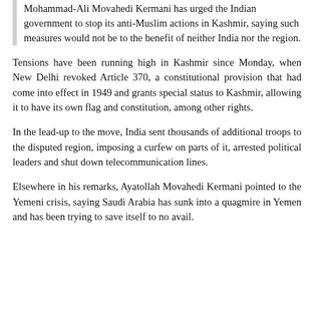Mohammad-Ali Movahedi Kermani has urged the Indian government to stop its anti-Muslim actions in Kashmir, saying such measures would not be to the benefit of neither India nor the region.
Tensions have been running high in Kashmir since Monday, when New Delhi revoked Article 370, a constitutional provision that had come into effect in 1949 and grants special status to Kashmir, allowing it to have its own flag and constitution, among other rights.
In the lead-up to the move, India sent thousands of additional troops to the disputed region, imposing a curfew on parts of it, arrested political leaders and shut down telecommunication lines.
Elsewhere in his remarks, Ayatollah Movahedi Kermani pointed to the Yemeni crisis, saying Saudi Arabia has sunk into a quagmire in Yemen and has been trying to save itself to no avail.